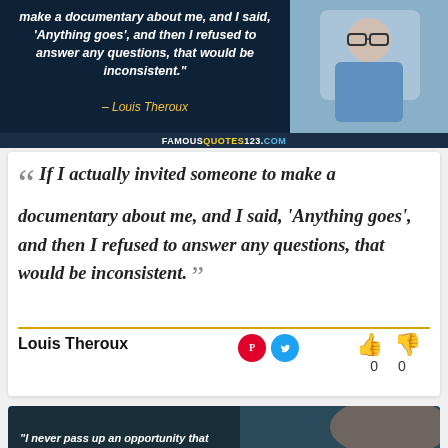[Figure (photo): Quote card image at top with dark navy background showing partial italic quote text in white and attribution to Louis Theroux in yellow italic, with a photo of Louis Theroux (man with glasses in blue shirt) on the right. Website bar reads FAMOUSQUOTES123.COM at the bottom.]
If I actually invited someone to make a documentary about me, and I said, 'Anything goes', and then I refused to answer any questions, that would be inconsistent.
Louis Theroux
[Figure (photo): Bottom partial card with dark teal/navy background, partial view of a woman's face on the right side, beginning of a quote in white italic text at the bottom.]